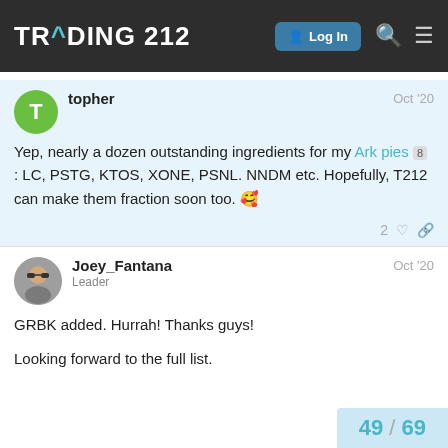TRADING 212 | Log In
topher Oct '20
Yep, nearly a dozen outstanding ingredients for my Ark pies 8 : LC, PSTG, KTOS, XONE, PSNL. NNDM etc. Hopefully, T212 can make them fraction soon too. 🥰
Joey_Fantana Oct '20
Leader
GRBK added. Hurrah! Thanks guys!

Looking forward to the full list.
49 / 69